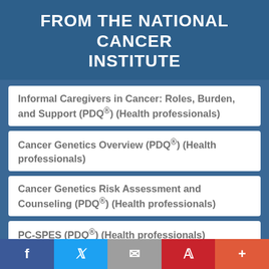FROM THE NATIONAL CANCER INSTITUTE
Informal Caregivers in Cancer: Roles, Burden, and Support (PDQ®) (Health professionals)
Cancer Genetics Overview (PDQ®) (Health professionals)
Cancer Genetics Risk Assessment and Counseling (PDQ®) (Health professionals)
PC-SPES (PDQ®) (Health professionals)
f  [Twitter bird]  [envelope]  [Pinterest P]  +